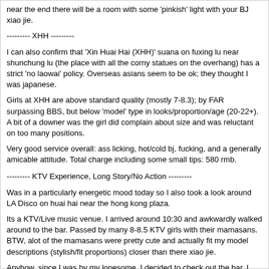near the end there will be a room with some 'pinkish' light with your BJ xiao jie.
--------- XHH ---------
I can also confirm that 'Xin Huai Hai (XHH)' suana on fuxing lu near shunchung lu (the place with all the corny statues on the overhang) has a strict 'no laowai' policy. Overseas asians seem to be ok; they thought I was japanese.
Girls at XHH are above standard quality (mostly 7-8.3); by FAR surpassing BBS, but below 'model' type in looks/proportion/age (20-22+). A bit of a downer was the girl did complain about size and was reluctant on too many positions.
Very good service overall: ass licking, hot/cold bj, fucking, and a generally amicable attitude. Total charge including some small tips: 580 rmb.
--------- KTV Experience, Long Story/No Action ---------
Was in a particularly energetic mood today so I also took a look around LA Disco on huai hai near the hong kong plaza.
Its a KTV/Live music venue. I arrived around 10:30 and awkwardly walked around to the bar. Passed by many 8-8.5 KTV girls with their mamasans. BTW, alot of the mamasans were pretty cute and actually fit my model descriptions (stylish/fit proportions) closer than there xiao jie.
Anyhow, since I was by my lonesome, I decided to check out the bar. I took a seat which was conveniently locate by a staff door which all the KTV girls enter and exit. There were ALOT of girls there. 25% were 8.5-9 and 75% were more around 7.5-8. I suspect the 9-10s are all taken earlier in the night.
I asked a guy how this place works and he said he would send a mamasan. 20 minutes later some girl (7.2) came over and asked what I was looking for. I asked her how much to leave and she quoted 1500 rmb/night. I asked her to let me see some girls, but she said she wasnt a mama. That sucked.
Then 15 minutes more, and a real mamasan came and handed me her card. She said I should get a KTV room (min: 900+ rmb) and she could bring some